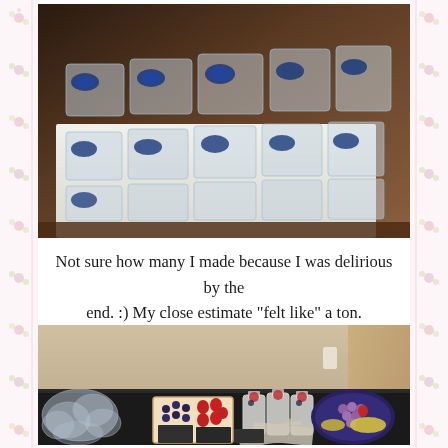[Figure (photo): A box filled with multiple plastic-packaged food items (baked goods/snacks) with blue oval labels, viewed from above at an angle on a dark wooden surface.]
Not sure how many I made because I was delirious by the end. :) My close estimate "felt like" a ton.
[Figure (photo): A dessert spread on a black table: clear plastic bags with treats, a tray with strawberries/blueberries, individual parfait cups with berries, and a fruit platter with grapes and banana, against a beige wall.]